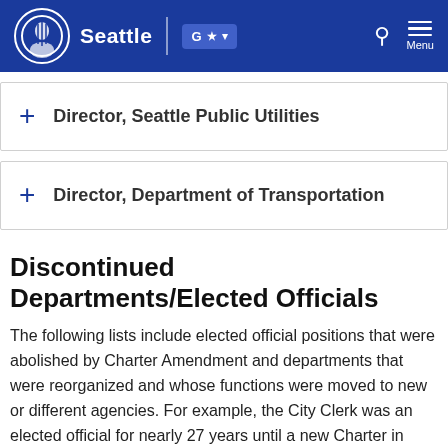Seattle
Director, Seattle Public Utilities
Director, Department of Transportation
Discontinued Departments/Elected Officials
The following lists include elected official positions that were abolished by Charter Amendment and departments that were reorganized and whose functions were moved to new or different agencies. For example, the City Clerk was an elected official for nearly 27 years until a new Charter in 1896 designated the Comptroller as City Clerk.